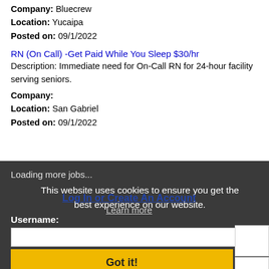Company: Bluecrew
Location: Yucaipa
Posted on: 09/1/2022
RN (On Call) -Get Paid While You Sleep $30/hr
Description: Immediate need for On-Call RN for 24-hour facility serving seniors.
Company:
Location: San Gabriel
Posted on: 09/1/2022
Loading more jobs...
This website uses cookies to ensure you get the best experience on our website.
Log In or Create An Account
Learn more
Username:
Got it!
Password: